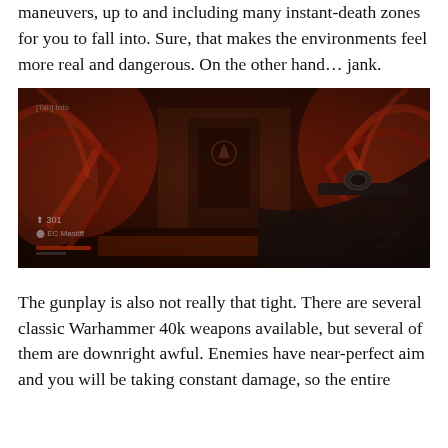maneuvers, up to and including many instant-death zones for you to fall into. Sure, that makes the environments feel more real and dangerous. On the other hand… jank.
[Figure (screenshot): First-person shooter screenshot from a Warhammer 40k game, showing a dark red alien/gothic environment with tentacle-like structures on either side, a figure holding a sniper rifle in the lower right, and a HUD with health/ammo indicators. Text '[Tab] Info' visible in upper left corner, ammo count in lower right.]
The gunplay is also not really that tight. There are several classic Warhammer 40k weapons available, but several of them are downright awful. Enemies have near-perfect aim and you will be taking constant damage, so the entire